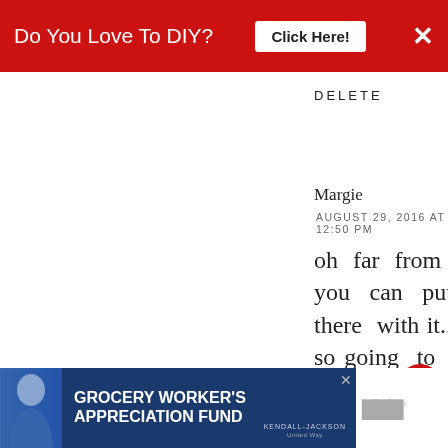Do You Love To DIY?  Click Here!  ×
DELETE
Margie
AUGUST 29, 2016 AT 12:50 PM
oh far from boring..and i love how you can put any season decor in there with it...love love love.....i am so going to make one... i may do white though with the green leaves..thank much for your inspiration
[Figure (screenshot): Grocery Worker's Appreciation Fund advertisement banner with Kendall-Jackson and United Way logos]
[Figure (infographic): Patriotic Ribbon Wreath - WHAT'S NEXT callout with thumbnail image]